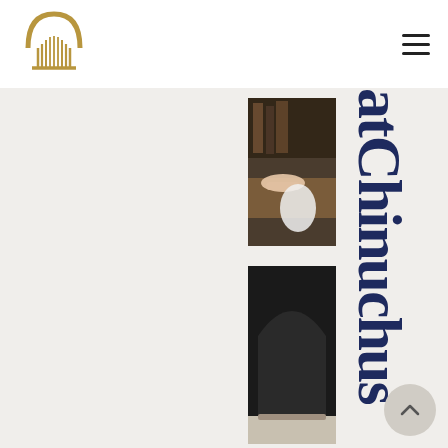[Figure (logo): Golden harp/arch logo mark — a symmetric arch shape with vertical strings beneath it, in gold/tan color]
[Figure (other): Hamburger menu icon — three horizontal black lines]
[Figure (photo): Partial photo of a person's hands on a wooden table, with books in background — cropped]
[Figure (photo): Partial photo of a dark arched doorway or furniture — cropped]
atChinuchus